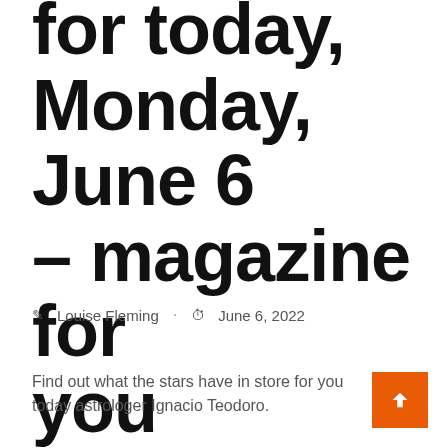for today, Monday, June 6 – magazine for you
Louise Fleming · June 6, 2022
Find out what the stars have in store for you today astrologer Ignacio Teodoro.